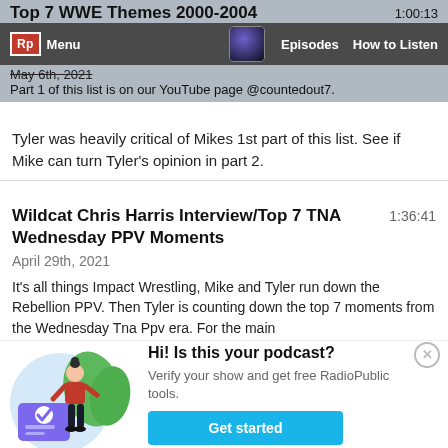Top 7 WWE Themes 2000-2004 | 1:00:13 | May 6th, 2021 | Rp Menu | Episodes | How to Listen
Part 1 of this list is on our YouTube page @countedout7.
Tyler was heavily critical of Mikes 1st part of this list. See if Mike can turn Tyler's opinion in part 2.
Wildcat Chris Harris Interview/Top 7 TNA Wednesday PPV Moments
1:36:41
April 29th, 2021
It's all things Impact Wrestling, Mike and Tyler run down the Rebellion PPV. Then Tyler is counting down the top 7 moments from the Wednesday Tna Ppv era. For the main
[Figure (illustration): Illustration of a woman with a bun hairstyle wearing a red shirt and black pants, standing next to a large purple card with a checkmark, with green leaves in the background]
Hi! Is this your podcast?
Verify your show and get free RadioPublic tools.
Get started